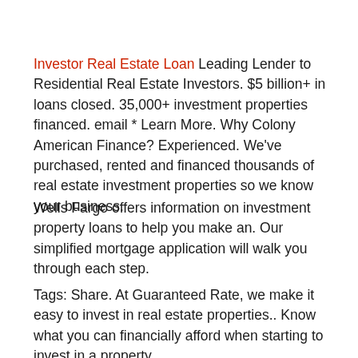Investor Real Estate Loan Leading Lender to Residential Real Estate Investors. $5 billion+ in loans closed. 35,000+ investment properties financed. email * Learn More. Why Colony American Finance? Experienced. We've purchased, rented and financed thousands of real estate investment properties so we know your business.
Wells Fargo offers information on investment property loans to help you make an. Our simplified mortgage application will walk you through each step.
Tags: Share. At Guaranteed Rate, we make it easy to invest in real estate properties.. Know what you can financially afford when starting to invest in a property.
When prospective homeowners were asked what worries them most about the home-buying process, 17% said not being able